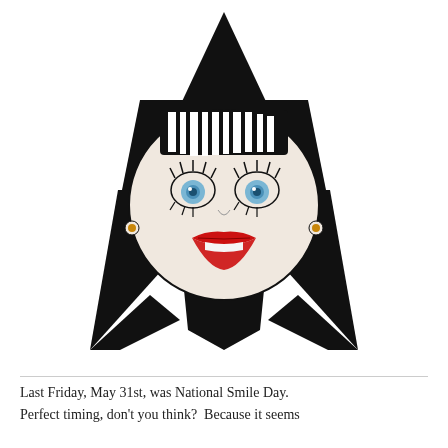[Figure (illustration): A stylized cartoon illustration of a face with heavy black hair shaped like a triangular hat/roof, thick black-and-white striped bangs, blue eyes with long lashes, gold earrings, and large red lips. The hair extends down into wide diagonal sections resembling arms or a cloak.]
Last Friday, May 31st, was National Smile Day. Perfect timing, don't you think?  Because it seems